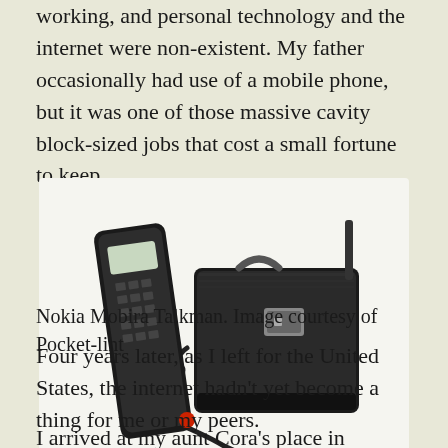working, and personal technology and the internet were non-existent. My father occasionally had use of a mobile phone, but it was one of those massive cavity block-sized jobs that cost a small fortune to keep.
[Figure (photo): A Nokia Mobira Talkman — a large vintage mobile phone handset connected by a coiled cord to a black briefcase-style carrying case/battery unit, photographed on a white background.]
Nokia Mobira Talkman. Image courtesy of Pocket-lint
Four years later, as I left for the United States, the internet hadn't yet become a thing for me or my peers.
I arrived at my aunt Cora's place in Twinsburg, Ohio,